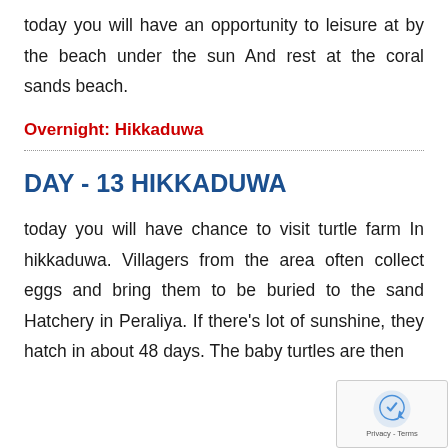today you will have an opportunity to leisure at by the beach under the sun And rest at the coral sands beach.
Overnight: Hikkaduwa
DAY - 13 HIKKADUWA
today you will have chance to visit turtle farm In hikkaduwa. Villagers from the area often collect eggs and bring them to be buried to the sand Hatchery in Peraliya. If there’s lot of sunshine, they hatch in about 48 days. The baby turtles are then